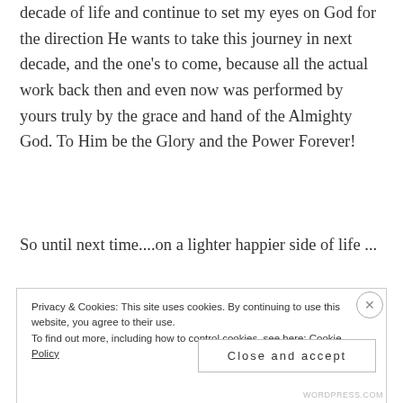decade of life and continue to set my eyes on God for the direction He wants to take this journey in next decade, and the one's to come, because all the actual work back then and even now was performed by yours truly by the grace and hand of the Almighty God. To Him be the Glory and the Power Forever!
So until next time....on a lighter happier side of life ...
Privacy & Cookies: This site uses cookies. By continuing to use this website, you agree to their use.
To find out more, including how to control cookies, see here: Cookie Policy
Close and accept
WORDPRESS.COM